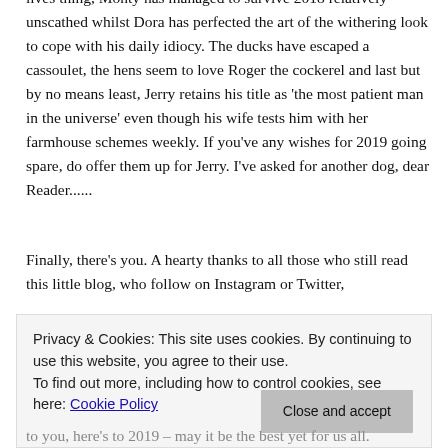attempts to test whether dogs actually share the whole cat nine lives thing, Monty has managed to survive 2018 relatively unscathed whilst Dora has perfected the art of the withering look to cope with his daily idiocy. The ducks have escaped a cassoulet, the hens seem to love Roger the cockerel and last but by no means least, Jerry retains his title as 'the most patient man in the universe' even though his wife tests him with her farmhouse schemes weekly. If you've any wishes for 2019 going spare, do offer them up for Jerry. I've asked for another dog, dear Reader......
Finally, there's you. A hearty thanks to all those who still read this little blog, who follow on Instagram or Twitter,
Privacy & Cookies: This site uses cookies. By continuing to use this website, you agree to their use.
To find out more, including how to control cookies, see here: Cookie Policy
Close and accept
to you, here's to 2019 – may it be the best yet for us all.